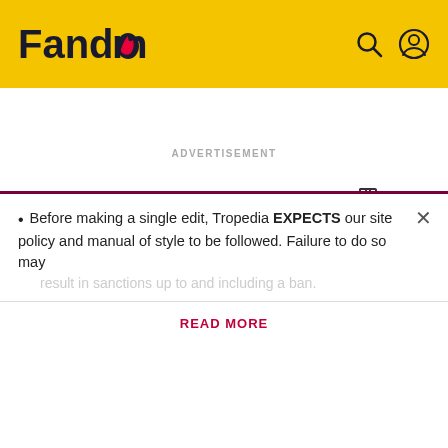Fandom
ADVERTISEMENT
TROPEDIA
Rapunzel Hair
Before making a single edit, Tropedia EXPECTS our site policy and manual of style to be followed. Failure to do so may
READ MORE